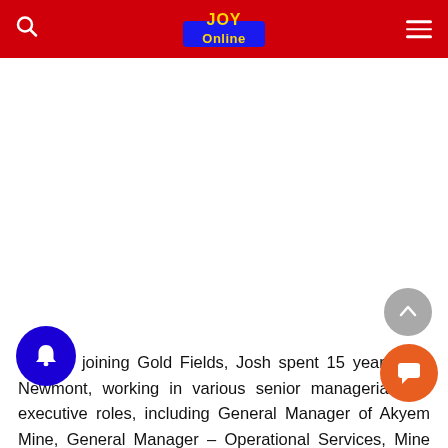Joy Online
[Figure (other): Advertisement/banner placeholder area (white space)]
Prior to joining Gold Fields, Josh spent 15 years with Newmont, working in various senior managerial and executive roles, including General Manager of Akyem Mine, General Manager – Operational Services, Mine Manager of the Ahafo Mine, Regional Business